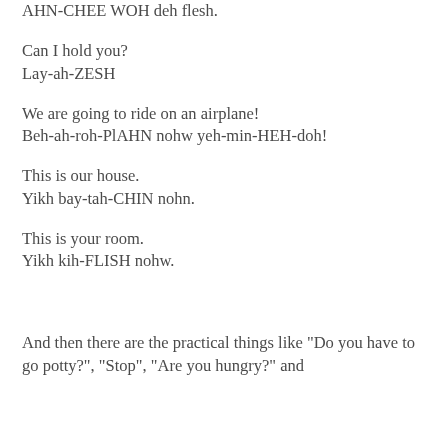AHN-CHEE WOH deh flesh.
Can I hold you?
Lay-ah-ZESH
We are going to ride on an airplane!
Beh-ah-roh-PlAHN nohw yeh-min-HEH-doh!
This is our house.
Yikh bay-tah-CHIN nohn.
This is your room.
Yikh kih-FLISH nohw.
And then there are the practical things like "Do you have to go potty?", "Stop", "Are you hungry?" and